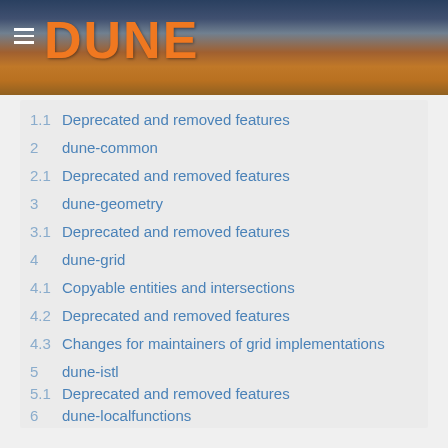DUNE
1.1 Deprecated and removed features
2   dune-common
2.1 Deprecated and removed features
3   dune-geometry
3.1 Deprecated and removed features
4   dune-grid
4.1 Copyable entities and intersections
4.2 Deprecated and removed features
4.3 Changes for maintainers of grid implementations
5   dune-istl
5.1 Deprecated and removed features
6   dune-localfunctions
6.1 Deprecated and removed features
7   dune-grid-howto
8   dune-grid-dev-howto